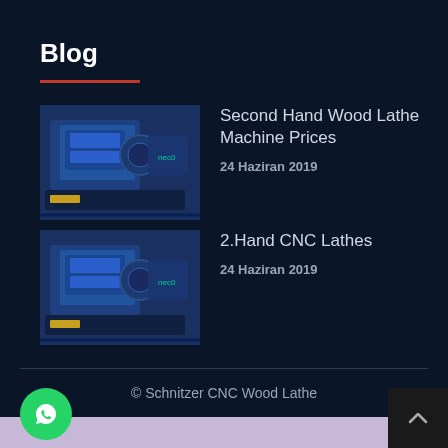Blog
[Figure (photo): Blue CNC lathe machine thumbnail for blog post 1]
Second Hand Wood Lathe Machine Prices
24 Haziran 2019
[Figure (photo): Blue CNC lathe machine thumbnail for blog post 2]
2.Hand CNC Lathes
24 Haziran 2019
© Schnitzer CNC Wood Lathe